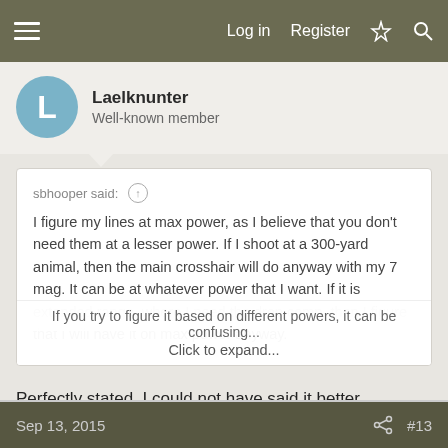Log in  Register
Laelknunter
Well-known member
sbhooper said: ↑

I figure my lines at max power, as I believe that you don't need them at a lesser power. If I shoot at a 300-yard animal, then the main crosshair will do anyway with my 7 mag. It can be at whatever power that I want. If it is extended range, where I need the drop comp, then I figure that I will have it on max power anyway.

If you try to figure it based on different powers, it can be confusing...

Click to expand...
Perfectly stated. I could not have said it better (although I tried to).
Sep 13, 2015  #13